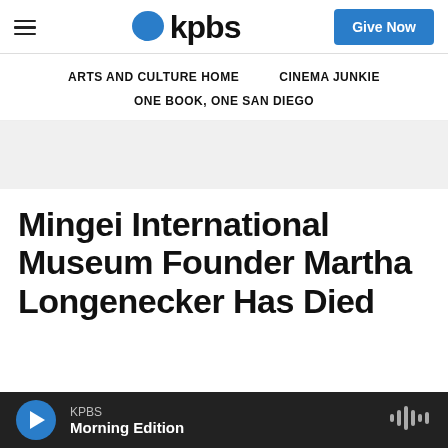[Figure (logo): KPBS logo with blue speech bubble and bold 'kpbs' text]
[Figure (other): Give Now button in blue]
ARTS AND CULTURE HOME   CINEMA JUNKIE   ONE BOOK, ONE SAN DIEGO
[Figure (other): Gray advertisement band]
Mingei International Museum Founder Martha Longenecker Has Died
[Figure (other): Audio player bar: KPBS Morning Edition with play button and sound wave icon]